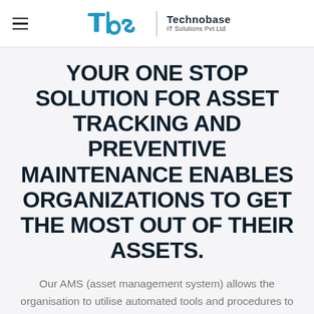TBS | Technobase IT Solutions Pvt Ltd
YOUR ONE STOP SOLUTION FOR ASSET TRACKING AND PREVENTIVE MAINTENANCE ENABLES ORGANIZATIONS TO GET THE MOST OUT OF THEIR ASSETS.
Our AMS (asset management system) allows the organisation to utilise automated tools and procedures to track their assets and equipment as technology has progressed. Older techniques, such